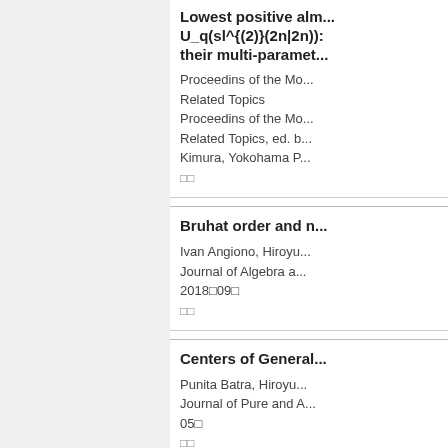Lowest positive alm... U_q(sl^{(2)}(2n|2n)): their multi-paramet...
Proceedins of the Mo... Related Topics
Proceedins of the Mo... Related Topics, ed. b... Kimura, Yokohama P...
□□
Bruhat order and n...
Ivan Angiono, Hiroyu...
Journal of Algebra a...
2018□09□
□□
Centers of General...
Punita Batra, Hiroyu...
Journal of Pure and A...
05□
□□